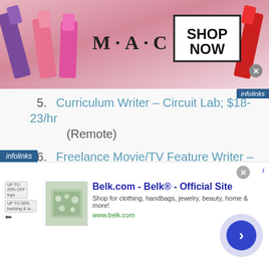[Figure (screenshot): MAC cosmetics advertisement banner with lipsticks and SHOP NOW button]
5. Curriculum Writer – Circuit Lab; $18-23/hr (Remote)
6. Freelance Movie/TV Feature Writer – ScreenRant (Remote)
7. Freelance Outdoors Writer – The Manual (Remote)
8. Psychedelic Industry Reporter & Writer – PSYCH at Prohibition Partners (Available During EST Hours)
[Figure (screenshot): Belk.com advertisement banner - Shop for clothing, handbags, jewelry, beauty, home & more! www.belk.com]